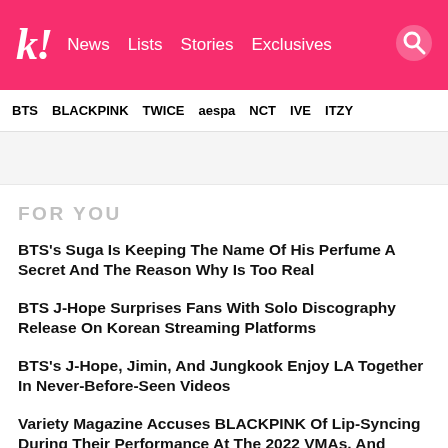k! News Lists Stories Exclusives
BTS BLACKPINK TWICE aespa NCT IVE ITZY
FOR YOU
BTS's Suga Is Keeping The Name Of His Perfume A Secret And The Reason Why Is Too Real
BTS J-Hope Surprises Fans With Solo Discography Release On Korean Streaming Platforms
BTS's J-Hope, Jimin, And Jungkook Enjoy LA Together In Never-Before-Seen Videos
Variety Magazine Accuses BLACKPINK Of Lip-Syncing During Their Performance At The 2022 VMAs, And Korean Netizens Are Not Having Any Of It
Actor Kang Tae Oh Reportedly Announced He Will Enlist...